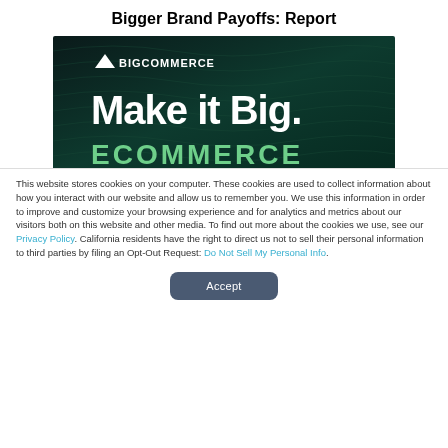Bigger Brand Payoffs: Report
[Figure (screenshot): BigCommerce 'Make it Big. Ecommerce' promotional banner with dark teal/green wavy background, BigCommerce logo in white, large white bold text 'Make it Big.' and green text 'ECOMMERCE' at bottom]
This website stores cookies on your computer. These cookies are used to collect information about how you interact with our website and allow us to remember you. We use this information in order to improve and customize your browsing experience and for analytics and metrics about our visitors both on this website and other media. To find out more about the cookies we use, see our Privacy Policy. California residents have the right to direct us not to sell their personal information to third parties by filing an Opt-Out Request: Do Not Sell My Personal Info.
Accept